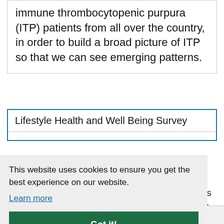immune thrombocytopenic purpura (ITP) patients from all over the country, in order to build a broad picture of ITP so that we can see emerging patterns.
Lifestyle Health and Well Being Survey
This website uses cookies to ensure you get the best experience on our website. Learn more
Got it!
ts h lth vide
Show accessibility tools